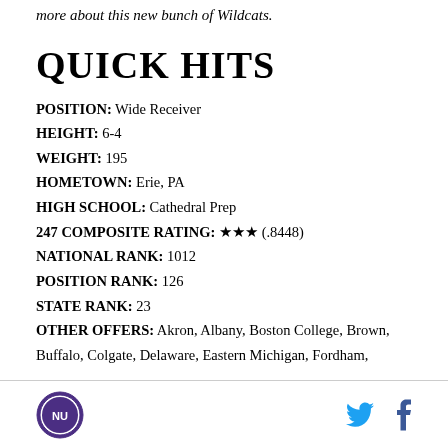more about this new bunch of Wildcats.
QUICK HITS
POSITION: Wide Receiver
HEIGHT: 6-4
WEIGHT: 195
HOMETOWN: Erie, PA
HIGH SCHOOL: Cathedral Prep
247 COMPOSITE RATING: ★★★ (.8448)
NATIONAL RANK: 1012
POSITION RANK: 126
STATE RANK: 23
OTHER OFFERS: Akron, Albany, Boston College, Brown, Buffalo, Colgate, Delaware, Eastern Michigan, Fordham,
Northwestern University logo | Twitter | Facebook